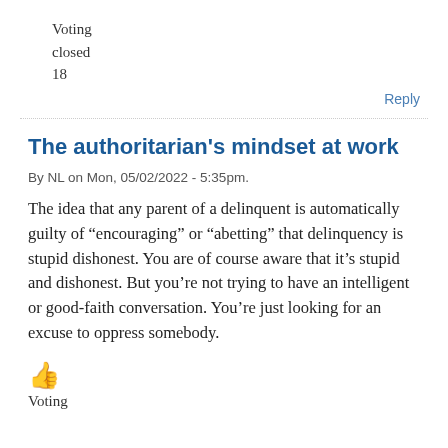Voting
closed
18
Reply
The authoritarian’s mindset at work
By NL on Mon, 05/02/2022 - 5:35pm.
The idea that any parent of a delinquent is automatically guilty of “encouraging” or “abetting” that delinquency is stupid dishonest. You are of course aware that it’s stupid and dishonest. But you’re not trying to have an intelligent or good-faith conversation. You’re just looking for an excuse to oppress somebody.
👍
Voting